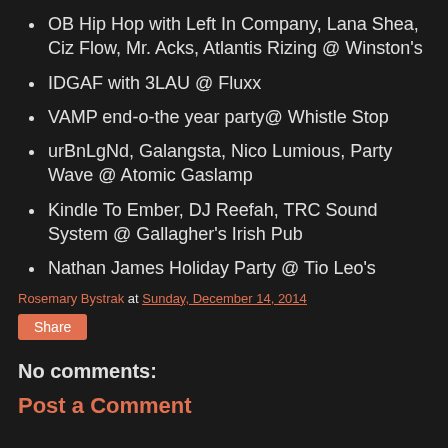OB Hip Hop with Left In Company, Lana Shea, Ciz Flow, Mr. Acks, Atlantis Rizing @ Winston's
IDGAF with 3LAU @ Fluxx
VAMP end-o-the year party@ Whistle Stop
urBnLgNd, Galangsta, Nico Lumious, Party Wave @ Atomic Gaslamp
Kindle To Ember, DJ Reefah, TRC Sound System @ Gallagher's Irish Pub
Nathan James Holiday Party @ Tio Leo's
Rosemary Bystrak at Sunday, December 14, 2014
Share
No comments:
Post a Comment